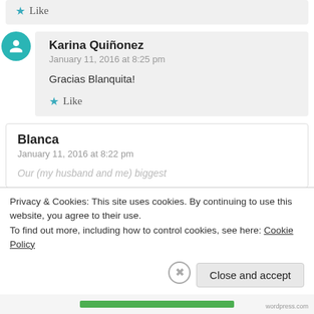Like
Karina Quiñonez
January 11, 2016 at 8:25 pm

Gracias Blanquita!

Like
Blanca
January 11, 2016 at 8:22 pm

Our (my husband and me) biggest...
Privacy & Cookies: This site uses cookies. By continuing to use this website, you agree to their use.
To find out more, including how to control cookies, see here: Cookie Policy
Close and accept